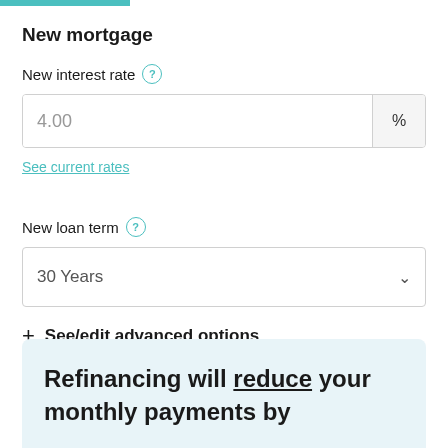New mortgage
New interest rate ?
4.00 %
See current rates
New loan term ?
30 Years
+ See/edit advanced options
Refinancing will reduce your monthly payments by